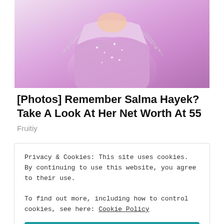[Figure (photo): Woman in sparkly pink/lavender dress with crystal fringe shoulder decoration, cropped to show torso]
[Photos] Remember Salma Hayek? Take A Look At Her Net Worth At 55
Fruitiy
[Figure (photo): Overhead view of a white plate with fresh salad including strawberries, avocado, blueberries and greens on a blue wooden table]
Privacy & Cookies: This site uses cookies. By continuing to use this website, you agree to their use.
To find out more, including how to control cookies, see here: Cookie Policy
Close and accept